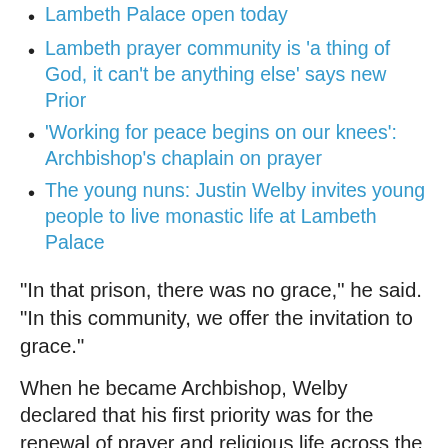Lambeth Palace open today
Lambeth prayer community is 'a thing of God, it can't be anything else' says new Prior
'Working for peace begins on our knees': Archbishop's chaplain on prayer
The young nuns: Justin Welby invites young people to live monastic life at Lambeth Palace
"In that prison, there was no grace," he said. "In this community, we offer the invitation to grace."
When he became Archbishop, Welby declared that his first priority was for the renewal of prayer and religious life across the Church. Today, he said he hopes the community of St Anselm will be prophetic;